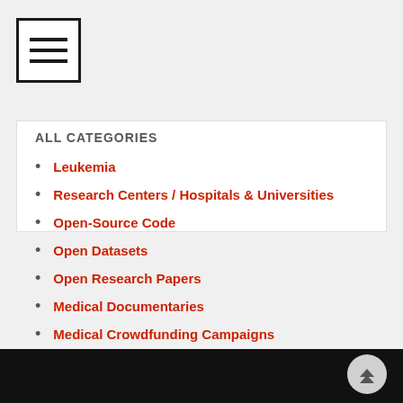[Figure (other): Hamburger menu icon — three horizontal bars inside a square border]
ALL CATEGORIES
Leukemia
Research Centers / Hospitals & Universities
Open-Source Code
Open Datasets
Open Research Papers
Medical Documentaries
Medical Crowdfunding Campaigns
Medical Courses